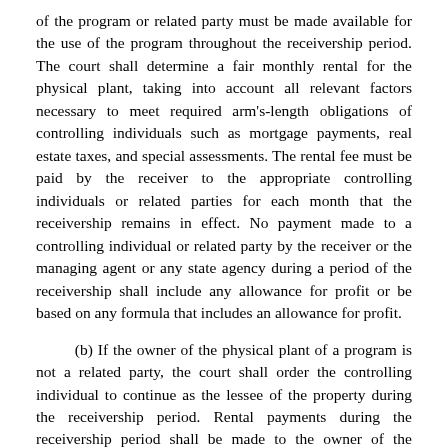of the program or related party must be made available for the use of the program throughout the receivership period. The court shall determine a fair monthly rental for the physical plant, taking into account all relevant factors necessary to meet required arm's-length obligations of controlling individuals such as mortgage payments, real estate taxes, and special assessments. The rental fee must be paid by the receiver to the appropriate controlling individuals or related parties for each month that the receivership remains in effect. No payment made to a controlling individual or related party by the receiver or the managing agent or any state agency during a period of the receivership shall include any allowance for profit or be based on any formula that includes an allowance for profit.
(b) If the owner of the physical plant of a program is not a related party, the court shall order the controlling individual to continue as the lessee of the property during the receivership period. Rental payments during the receivership period shall be made to the owner of the physical plant by the commissioner or the managing agent on behalf of the controlling individual.